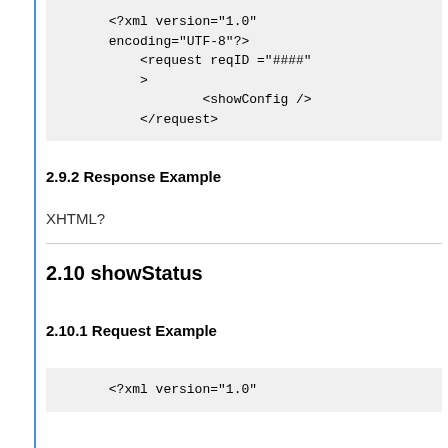[Figure (other): Code block showing XML request with showConfig element: <?xml version="1.0" encoding="UTF-8"?><request reqID ="####"><showConfig /></request>]
2.9.2 Response Example
XHTML?
2.10 showStatus
2.10.1 Request Example
[Figure (other): Code block showing start of XML: <?xml version="1.0"]